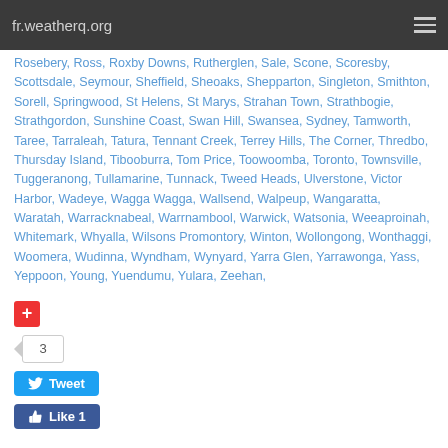fr.weatherq.org
Rosebery, Ross, Roxby Downs, Rutherglen, Sale, Scone, Scoresby, Scottsdale, Seymour, Sheffield, Sheoaks, Shepparton, Singleton, Smithton, Sorell, Springwood, St Helens, St Marys, Strahan Town, Strathbogie, Strathgordon, Sunshine Coast, Swan Hill, Swansea, Sydney, Tamworth, Taree, Tarraleah, Tatura, Tennant Creek, Terrey Hills, The Corner, Thredbo, Thursday Island, Tibooburra, Tom Price, Toowoomba, Toronto, Townsville, Tuggeranong, Tullamarine, Tunnack, Tweed Heads, Ulverstone, Victor Harbor, Wadeye, Wagga Wagga, Wallsend, Walpeup, Wangaratta, Waratah, Warracknabeal, Warrnambool, Warwick, Watsonia, Weeaproinah, Whitemark, Whyalla, Wilsons Promontory, Winton, Wollongong, Wonthaggi, Woomera, Wudinna, Wyndham, Wynyard, Yarra Glen, Yarrawonga, Yass, Yeppoon, Young, Yuendumu, Yulara, Zeehan,